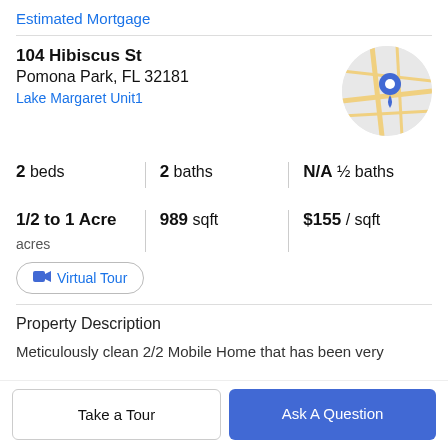Estimated Mortgage
104 Hibiscus St
Pomona Park, FL 32181
Lake Margaret Unit1
[Figure (map): Circular map thumbnail showing a location pin on a street map]
2 beds   2 baths   N/A ½ baths
1/2 to 1 Acre acres   989 sqft   $155 / sqft
Virtual Tour
Property Description
Meticulously clean 2/2 Mobile Home that has been very
Take a Tour
Ask A Question